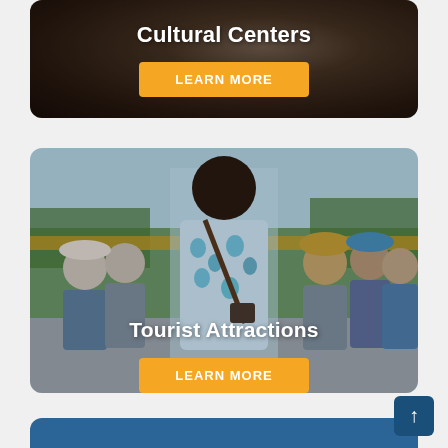[Figure (photo): Cultural Centers card with a dark-toned photo background showing close-up of people, with white bold title 'Cultural Centers' and orange 'LEARN MORE' button]
[Figure (photo): Tourist Attractions card with a photo of tourists being photographed outdoors, person in floral shirt with camera bag in foreground, white bold title 'Tourist Attractions' and orange 'LEARN MORE' button]
[Figure (photo): Partial blue card visible at the bottom of the page, truncated]